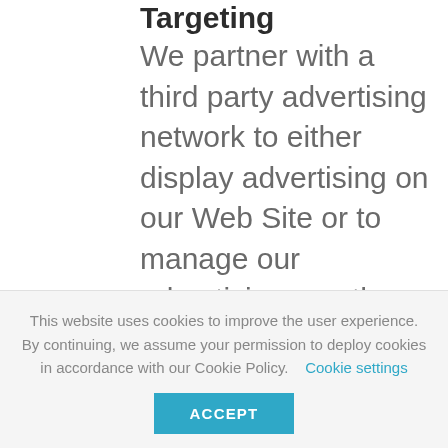Targeting
We partner with a third party advertising network to either display advertising on our Web Site or to manage our advertising on other Web Sites. Our ad network partner uses cookies and web beacons to collect non-personally identifiable information about
This website uses cookies to improve the user experience. By continuing, we assume your permission to deploy cookies in accordance with our Cookie Policy.   Cookie settings
ACCEPT